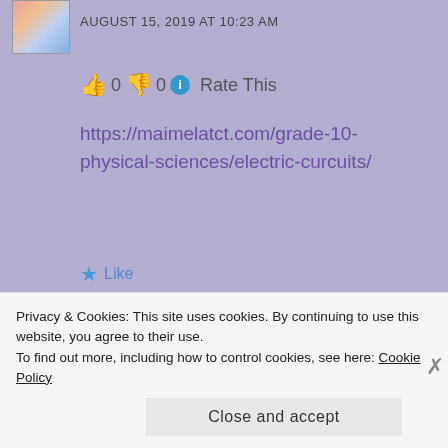AUGUST 15, 2019 AT 10:23 AM
👍 0 👎 0 ℹ Rate This
https://maimelatct.com/grade-10-physical-sciences/electric-curcuits/
★ Like
REPLY
yamkela
SEPTEMBER 13, 2019 AT 7:38 PM
Privacy & Cookies: This site uses cookies. By continuing to use this website, you agree to their use.
To find out more, including how to control cookies, see here: Cookie Policy
Close and accept